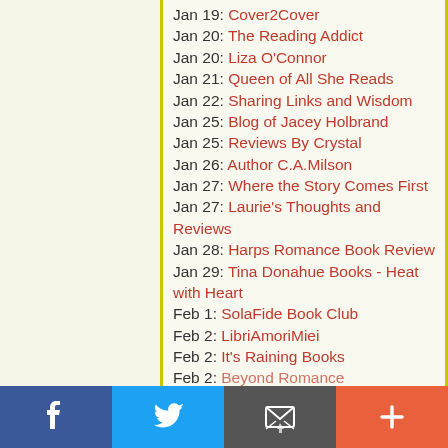Jan 19: Cover2Cover
Jan 20: The Reading Addict
Jan 20: Liza O'Connor
Jan 21: Queen of All She Reads
Jan 22: Sharing Links and Wisdom
Jan 25: Blog of Jacey Holbrand
Jan 25: Reviews By Crystal
Jan 26: Author C.A.Milson
Jan 27: Where the Story Comes First
Jan 27: Laurie's Thoughts and Reviews
Jan 28: Harps Romance Book Review
Jan 29: Tina Donahue Books - Heat with Heart
Feb 1: SolaFide Book Club
Feb 2: LibriAmoriMiei
Feb 2: It's Raining Books
Feb 2: Beyond Romance